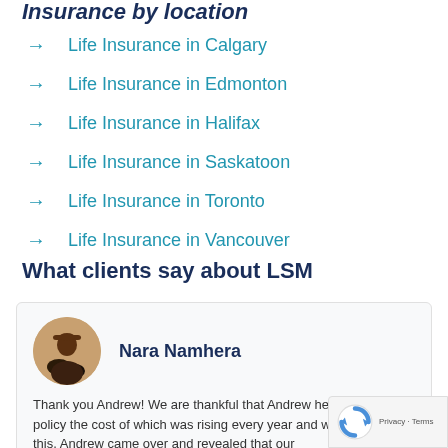Insurance by location
Life Insurance in Calgary
Life Insurance in Edmonton
Life Insurance in Halifax
Life Insurance in Saskatoon
Life Insurance in Toronto
Life Insurance in Vancouver
What clients say about LSM
Nara Namhera
Thank you Andrew! We are thankful that Andrew helped us our policy the cost of which was rising every year and we not aware of this. Andrew came over and revealed that our